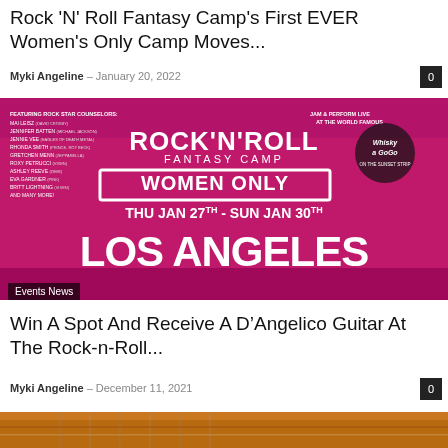Rock 'N' Roll Fantasy Camp's First EVER Women's Only Camp Moves...
Myki Angeline – January 20, 2022
[Figure (photo): Rock 'N' Roll Fantasy Camp Women Only event poster for Los Angeles, THU JAN 27TH - SUN JAN 30TH, with pink background and performer names listed]
Events News
Win A Spot And Receive A D'Angelico Guitar At The Rock-n-Roll...
Myki Angeline – December 11, 2021
[Figure (photo): Partial image of a guitar, orange/brown tones, bottom of page]